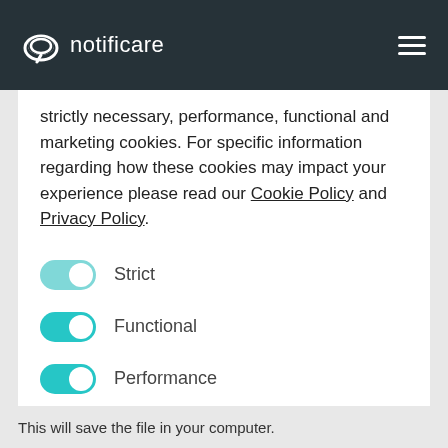notificare
strictly necessary, performance, functional and marketing cookies. For specific information regarding how these cookies may impact your experience please read our Cookie Policy and Privacy Policy.
Strict (toggle on)
Functional (toggle on)
Performance (toggle on)
SAVE SETTINGS
This will save the file in your computer.